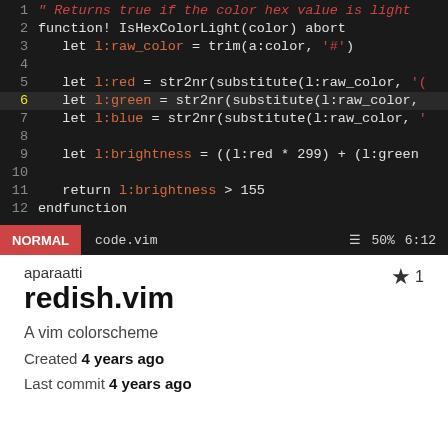[Figure (screenshot): A Vim editor screenshot showing code in code.vim with a dark theme (redish.vim colorscheme). Lines 1-12 visible with syntax highlighting in red/orange tones. Line 6 is highlighted. Status bar at bottom shows NORMAL mode, filename code.vim, 50%, and position 6:12.]
aparaatti
redish.vim
A vim colorscheme
Created 4 years ago
Last commit 4 years ago